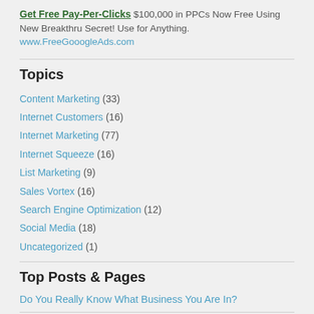Get Free Pay-Per-Clicks $100,000 in PPCs Now Free Using New Breakthru Secret! Use for Anything. www.FreeGooogleAds.com
Topics
Content Marketing (33)
Internet Customers (16)
Internet Marketing (77)
Internet Squeeze (16)
List Marketing (9)
Sales Vortex (16)
Search Engine Optimization (12)
Social Media (18)
Uncategorized (1)
Top Posts & Pages
Do You Really Know What Business You Are In?
Recent Comments
Joe Manausa, MBA on What Is The Internet Squeeze? – sponsored by